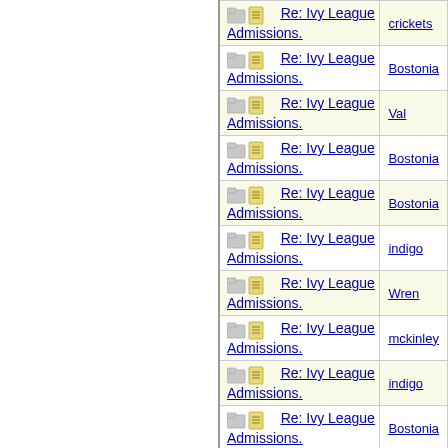| Topic | Author |
| --- | --- |
| Re: Ivy League Admissions. | crickets |
| Re: Ivy League Admissions. | Bostonia |
| Re: Ivy League Admissions. | Val |
| Re: Ivy League Admissions. | Bostonia |
| Re: Ivy League Admissions. | Bostonia |
| Re: Ivy League Admissions. | Bostonia |
| Re: Ivy League Admissions. | indigo |
| Re: Ivy League Admissions. | Wren |
| Re: Ivy League Admissions. | mckinley |
| Re: Ivy League Admissions. | indigo |
| Re: Ivy League Admissions. | Bostonia |
| Re: Ivy League Admissions. | indigo |